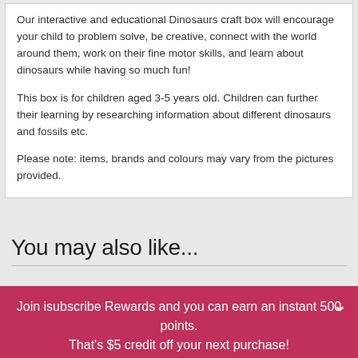Our interactive and educational Dinosaurs craft box will encourage your child to problem solve, be creative, connect with the world around them, work on their fine motor skills, and learn about dinosaurs while having so much fun!
This box is for children aged 3-5 years old. Children can further their learning by researching information about different dinosaurs and fossils etc.
Please note: items, brands and colours may vary from the pictures provided.
You may also like...
Join isubscribe Rewards and you can earn an instant 500 points.
That's $5 credit off your next purchase!